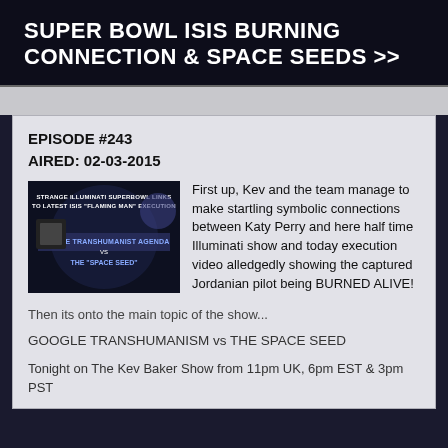SUPER BOWL ISIS BURNING CONNECTION & SPACE SEEDS >>
EPISODE #243
AIRED: 02-03-2015
[Figure (screenshot): Thumbnail image with text: STRANGE ILLUMINATI SUPERBOWL LINKS TO LATEST ISIS 'FLAMING MAN' EXECUTION, GOOGLE TRANSHUMANIST AGENDA VS THE 'SPACE SEED']
First up, Kev and the team manage to make startling symbolic connections between Katy Perry and here half time Illuminati show and today execution video alledgedly showing the captured Jordanian pilot being BURNED ALIVE!
Then its onto the main topic of the show...
GOOGLE TRANSHUMANISM vs THE SPACE SEED
Tonight on The Kev Baker Show from 11pm UK, 6pm EST & 3pm PST